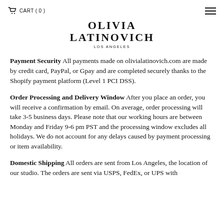CART (0)
OLIVIA LATINOVICH
LOS ANGELES
Payment Security All payments made on olivialatinovich.com are made by credit card, PayPal, or Gpay and are completed securely thanks to the Shopify payment platform (Level 1 PCI DSS).
Order Processing and Delivery Window After you place an order, you will receive a confirmation by email. On average, order processing will take 3-5 business days. Please note that our working hours are between Monday and Friday 9-6 pm PST and the processing window excludes all holidays. We do not account for any delays caused by payment processing or item availability.
Domestic Shipping All orders are sent from Los Angeles, the location of our studio. The orders are sent via USPS, FedEx, or UPS without a shipping number. You will receive a receipt on the...